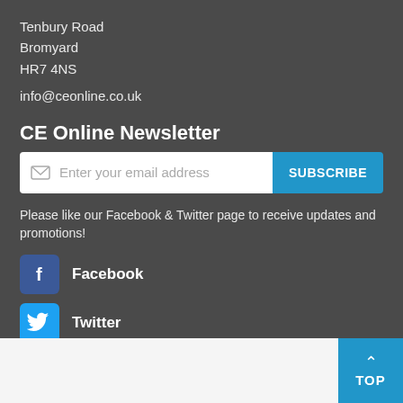Tenbury Road
Bromyard
HR7 4NS
info@ceonline.co.uk
CE Online Newsletter
Enter your email address   SUBSCRIBE
Please like our Facebook & Twitter page to receive updates and promotions!
Facebook
Twitter
© CE Online 2022 All Rights Reserved